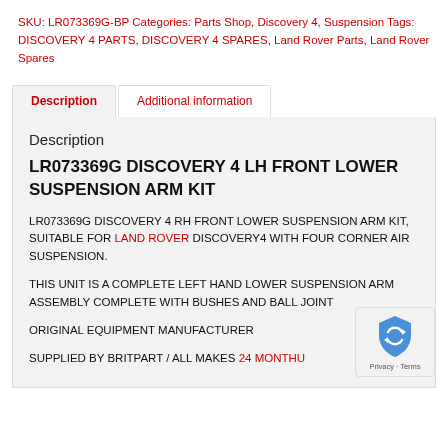SKU: LR073369G-BP Categories: Parts Shop, Discovery 4, Suspension Tags: DISCOVERY 4 PARTS, DISCOVERY 4 SPARES, Land Rover Parts, Land Rover Spares
Description
Additional information
Description
LR073369G DISCOVERY 4 LH FRONT LOWER SUSPENSION ARM KIT
LR073369G DISCOVERY 4 RH FRONT LOWER SUSPENSION ARM KIT, SUITABLE FOR LAND ROVER DISCOVERY4 WITH FOUR CORNER AIR SUSPENSION.
THIS UNIT IS A COMPLETE LEFT HAND LOWER SUSPENSION ARM ASSEMBLY COMPLETE WITH BUSHES AND BALL JOINT
ORIGINAL EQUIPMENT MANUFACTURER
SUPPLIED BY BRITPART / ALL MAKES  24 MONTH...